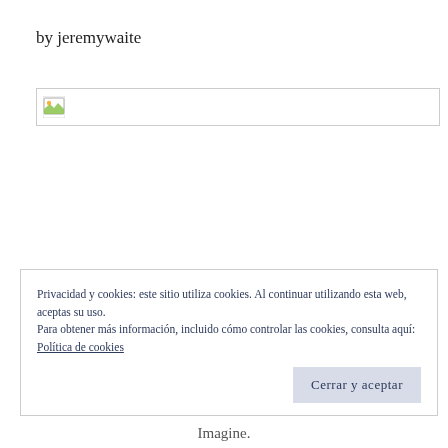by jeremywaite
[Figure (illustration): Broken image placeholder with small landscape icon, inside a light gray bordered box]
Privacidad y cookies: este sitio utiliza cookies. Al continuar utilizando esta web, aceptas su uso.
Para obtener más información, incluido cómo controlar las cookies, consulta aquí: Política de cookies
Cerrar y aceptar
Imagine.